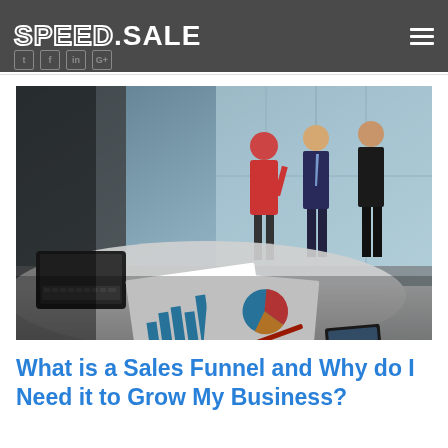SPEED.SALE
[Figure (photo): Business meeting scene: two men in suits talking in the background near large windows, foreground shows a desk with a laptop, business charts/reports with bar and pie charts, a pen, and a tablet/phone.]
What is a Sales Funnel and Why do I Need it to Grow My Business?